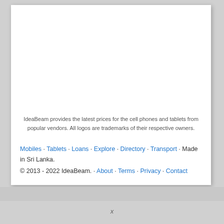IdeaBeam provides the latest prices for the cell phones and tablets from popular vendors. All logos are trademarks of their respective owners.
Mobiles · Tablets · Loans · Explore · Directory · Transport · Made in Sri Lanka.
© 2013 - 2022 IdeaBeam. · About · Terms · Privacy · Contact